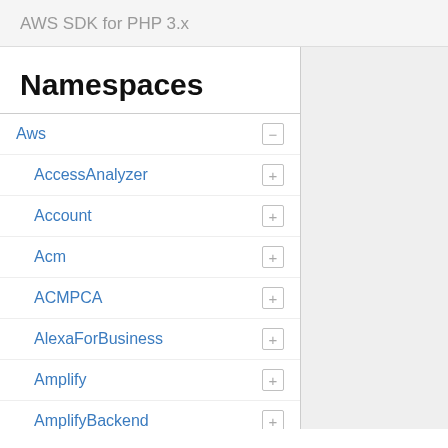AWS SDK for PHP 3.x
Namespaces
Aws
AccessAnalyzer
Account
Acm
ACMPCA
AlexaForBusiness
Amplify
AmplifyBackend
AmplifyUIBuilder
Api
ApiGateway
ApiGatewayManagementApi